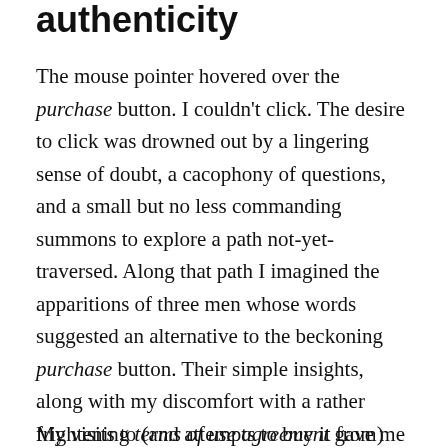authenticity
The mouse pointer hovered over the purchase button. I couldn't click. The desire to click was drowned out by a lingering sense of doubt, a cacophony of questions, and a small but no less commanding summons to explore a path not-yet-traversed. Along that path I imagined the apparitions of three men whose words suggested an alternative to the beckoning purchase button. Their simple insights, along with my discomfort with a rather frightening terms of use agreement gave me the strength to click instead the close tab button. I had, for the moment turned away, but would I be back?
My visits to (and attempts to buy it from) the site of...